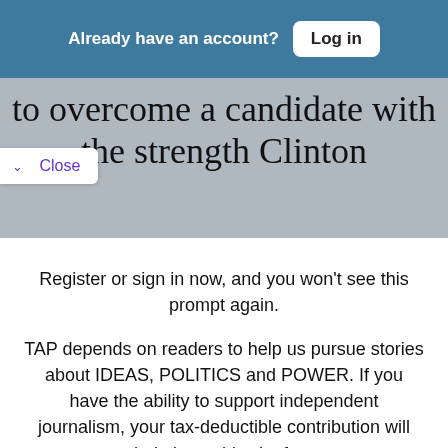Already have an account? Log in
to overcome a candidate with the strength Clinton
Close
Register or sign in now, and you won't see this prompt again.
TAP depends on readers to help us pursue stories about IDEAS, POLITICS and POWER. If you have the ability to support independent journalism, your tax-deductible contribution will help keep this site free